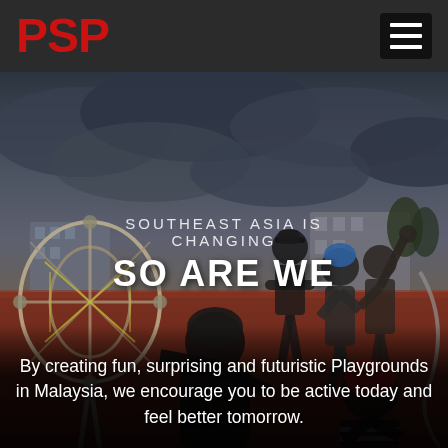PSP
[Figure (photo): Group of young people on a playground with climbing equipment, dramatic cloudy sky background, outdoor setting with buildings in the distance. Text overlaid: 'SOUTHEAST ASIA IS CHANGING SO ARE WE']
By creating fun, surprising and futuristic Playgrounds in Malaysia, we encourage you to be active today and feel better tomorrow.